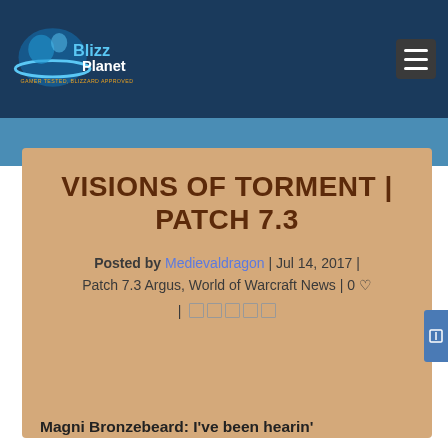[Figure (logo): BlizzPlanet logo — blue shield/planet graphic with 'BlizzPlanet' text and tagline 'GAMER TESTED, BLIZZARD APPROVED']
VISIONS OF TORMENT | PATCH 7.3
Posted by Medievaldragon | Jul 14, 2017 | Patch 7.3 Argus, World of Warcraft News | 0
Magni Bronzebeard: I've been hearin'